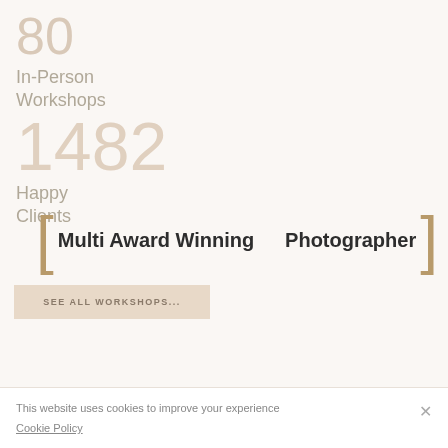80
In-Person
Workshops
1482
Happy
Clients
[ Multi Award Winning   Photographer ]
SEE ALL WORKSHOPS...
This website uses cookies to improve your experience
Cookie Policy